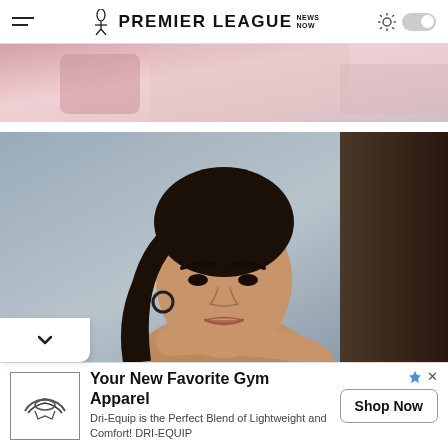Premier League News Now
[Figure (photo): Partial top image showing pink/light colored clothing or fabric, cropped]
[Figure (photo): Portrait photo of a young woman with dark hair pulled back, wearing hoop earrings, resting chin on arm, looking at camera against a grey wall background]
[Figure (photo): Advertisement: Your New Favorite Gym Apparel - Dri-Equip logo and Shop Now button]
Your New Favorite Gym Apparel
Dri-Equip is the Perfect Blend of Lightweight and Comfort! DRI-EQUIP